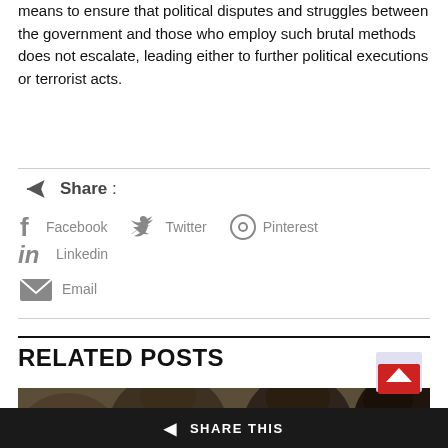means to ensure that political disputes and struggles between the government and those who employ such brutal methods does not escalate, leading either to further political executions or terrorist acts.
[Figure (infographic): Share section with social media icons: share arrow icon, Facebook, Twitter, Pinterest, Linkedin, Email]
RELATED POSTS
[Figure (photo): Group of people photographed, dark background]
SHARE THIS